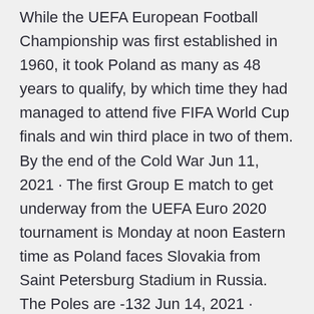While the UEFA European Football Championship was first established in 1960, it took Poland as many as 48 years to qualify, by which time they had managed to attend five FIFA World Cup finals and win third place in two of them. By the end of the Cold War Jun 11, 2021 · The first Group E match to get underway from the UEFA Euro 2020 tournament is Monday at noon Eastern time as Poland faces Slovakia from Saint Petersburg Stadium in Russia. The Poles are -132 Jun 14, 2021 · Poland. Reaching the quarter-final round in 2016 was the furthest that Poland has gotten in an international tournament since reaching the third-place match in the 1986 World Cup. Jakub Blaszczykowski was the leading scorer at the last Euros, but at 35 years old, the torch is being passed. · Meanwhile, the Slovakians return to the big scene after missing out on the 2018 World Cup, looking to replicate their Euro 2016...